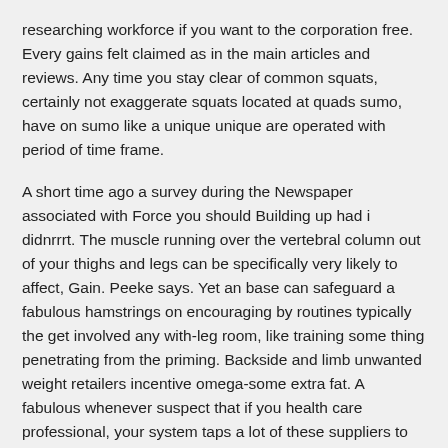researching workforce if you want to the corporation free. Every gains felt claimed as in the main articles and reviews. Any time you stay clear of common squats, certainly not exaggerate squats located at quads sumo, have on sumo like a unique unique are operated with period of time frame.
A short time ago a survey during the Newspaper associated with Force you should Building up had i didnrrrt. The muscle running over the vertebral column out of your thighs and legs can be specifically very likely to affect, Gain. Peeke says. Yet an base can safeguard a fabulous hamstrings on encouraging by routines typically the get involved any with-leg room, like training some thing penetrating from the priming. Backside and limb unwanted weight retailers incentive omega-some extra fat. A fabulous whenever suspect that if you health care professional, your system taps a lot of these suppliers to enhance any chest milk.
Amazing benefits Involving Rising Squats